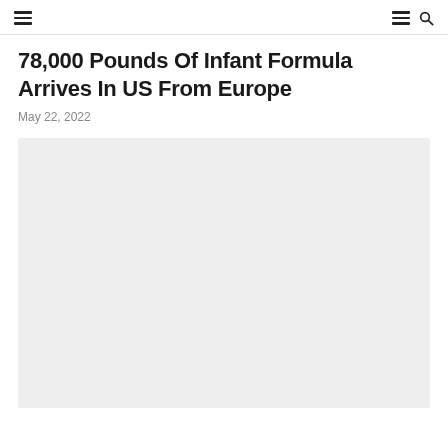Navigation header with hamburger menu icons and search icon
78,000 Pounds Of Infant Formula Arrives In US From Europe
May 22, 2022
[Figure (photo): Large light gray placeholder image area representing an editorial photo related to the article about infant formula arriving in the US from Europe]